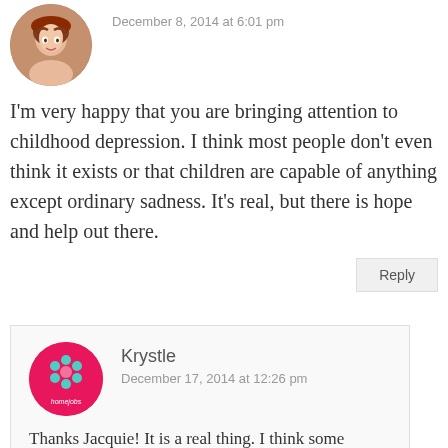December 8, 2014 at 6:01 pm
I'm very happy that you are bringing attention to childhood depression. I think most people don't even think it exists or that children are capable of anything except ordinary sadness. It's real, but there is hope and help out there.
Reply
Krystle
December 17, 2014 at 12:26 pm
Thanks Jacquie! It is a real thing. I think some people just chalk it up to something else since